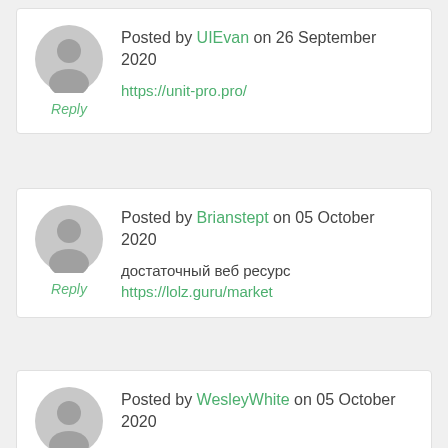Posted by UIEvan on 26 September 2020
Reply
https://unit-pro.pro/
Posted by Brianstept on 05 October 2020
Reply
достаточный веб ресурс
https://lolz.guru/market
Posted by WesleyWhite on 05 October 2020